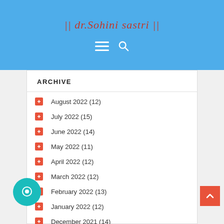|| dr.Sohini Sastri ||
ARCHIVE
August 2022 (12)
July 2022 (15)
June 2022 (14)
May 2022 (11)
April 2022 (12)
March 2022 (12)
February 2022 (13)
January 2022 (12)
December 2021 (14)
November 2021 (12)